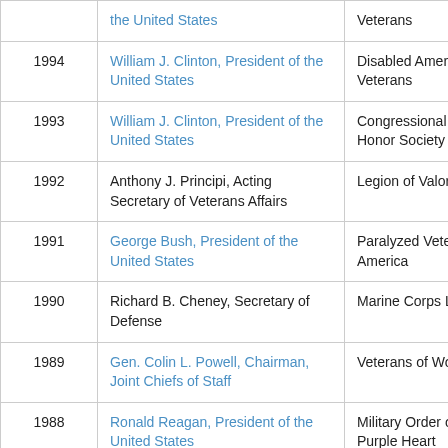| Year | Person | Organization |
| --- | --- | --- |
|  | [partial top row] | Veterans |
| 1994 | William J. Clinton, President of the United States | Disabled American Veterans |
| 1993 | William J. Clinton, President of the United States | Congressional Medal of Honor Society |
| 1992 | Anthony J. Principi, Acting Secretary of Veterans Affairs | Legion of Valor |
| 1991 | George Bush, President of the United States | Paralyzed Veterans of America |
| 1990 | Richard B. Cheney, Secretary of Defense | Marine Corps League |
| 1989 | Gen. Colin L. Powell, Chairman, Joint Chiefs of Staff | Veterans of World War I |
| 1988 | Ronald Reagan, President of the United States | Military Order of the Purple Heart |
| 1987 | Caspar Weinberger, Secretary of Defense | The American Legion |
| 1986 | Caspar Weinberger, Secretary of | Blinded Veterans |